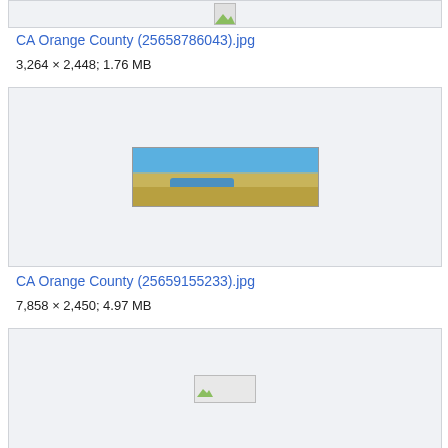[Figure (photo): Broken/loading image thumbnail in a light gray box at top of page]
CA Orange County (25658786043).jpg
3,264 × 2,448; 1.76 MB
[Figure (photo): Aerial panoramic photo of CA Orange County showing beach, water inlet, sandy shore, and blue sky]
CA Orange County (25659155233).jpg
7,858 × 2,450; 4.97 MB
[Figure (photo): Broken/loading image thumbnail in a light gray box at bottom of page]